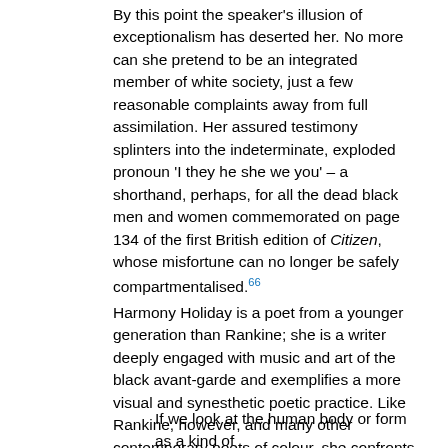By this point the speaker's illusion of exceptionalism has deserted her. No more can she pretend to be an integrated member of white society, just a few reasonable complaints away from full assimilation. Her assured testimony splinters into the indeterminate, exploded pronoun 'I they he she we you' – a shorthand, perhaps, for all the dead black men and women commemorated on page 134 of the first British edition of Citizen, whose misfortune can no longer be safely compartmentalised.66
Harmony Holiday is a poet from a younger generation than Rankine; she is a writer deeply engaged with music and art of the black avant-garde and exemplifies a more visual and synesthetic poetic practice. Like Rankine, however, and many other contemporary poets of colour, she confronts the routine toll that American society takes on the black body. In a poem about the tragic decline of the jazz musician Charles Mingus, she presents the following unflinching conditional:
If we look at the human body or form as a kind of